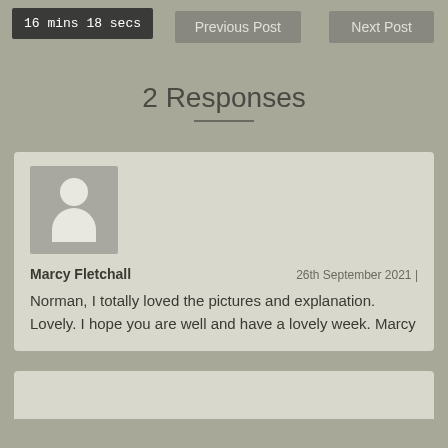Previous Post | Next Post
2 Responses
Marcy Fletchall — 26th September 2021 | Norman, I totally loved the pictures and explanation. Lovely. I hope you are well and have a lovely week. Marcy